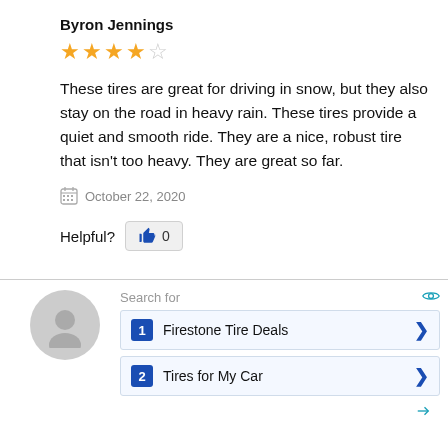Byron Jennings
[Figure (other): 4.5 out of 5 stars rating (4 filled stars and 1 half star)]
These tires are great for driving in snow, but they also stay on the road in heavy rain. These tires provide a quiet and smooth ride. They are a nice, robust tire that isn't too heavy. They are great so far.
October 22, 2020
Helpful? 0
[Figure (other): Generic user avatar (gray circle with person silhouette)]
Search for
1 Firestone Tire Deals
2 Tires for My Car